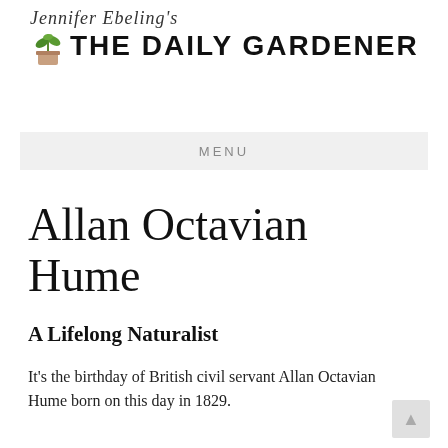[Figure (logo): Jennifer Ebeling's The Daily Gardener logo with cursive script above bold sans-serif text and a small potted plant illustration]
MENU
Allan Octavian Hume
A Lifelong Naturalist
It's the birthday of British civil servant Allan Octavian Hume born on this day in 1829.